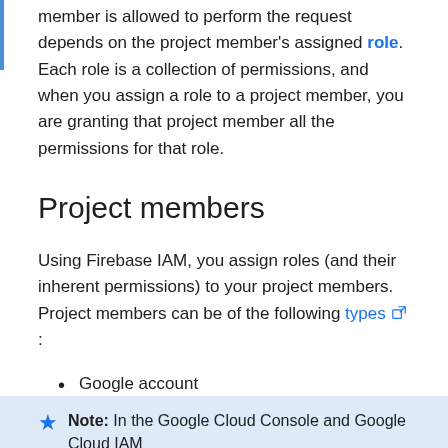member is allowed to perform the request depends on the project member's assigned role. Each role is a collection of permissions, and when you assign a role to a project member, you are granting that project member all the permissions for that role.
Project members
Using Firebase IAM, you assign roles (and their inherent permissions) to your project members. Project members can be of the following types ⧄:
Google account
Service account
Google group
Note: In the Google Cloud Console and Google Cloud IAM